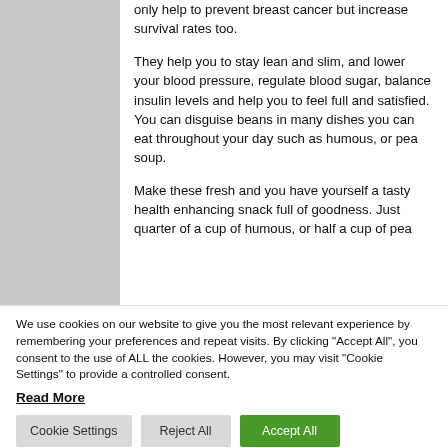[Figure (photo): Gray placeholder image on the left side of the page]
only help to prevent breast cancer but increase survival rates too.
They help you to stay lean and slim, and lower your blood pressure, regulate blood sugar, balance insulin levels and help you to feel full and satisfied. You can disguise beans in many dishes you can eat throughout your day such as humous, or pea soup.
Make these fresh and you have yourself a tasty health enhancing snack full of goodness. Just quarter of a cup of humous, or half a cup of pea...
We use cookies on our website to give you the most relevant experience by remembering your preferences and repeat visits. By clicking "Accept All", you consent to the use of ALL the cookies. However, you may visit "Cookie Settings" to provide a controlled consent.
Read More